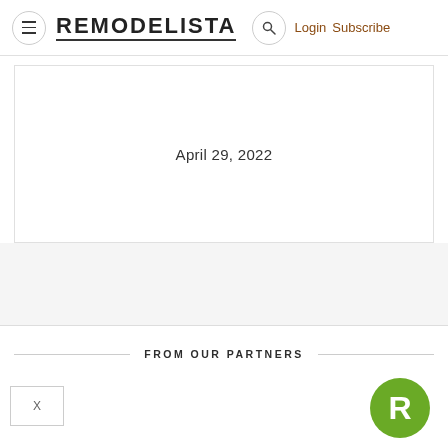REMODELISTA  Login  Subscribe
April 29, 2022
FROM OUR PARTNERS
[Figure (logo): Remodelista R logo in green circle, bottom right corner]